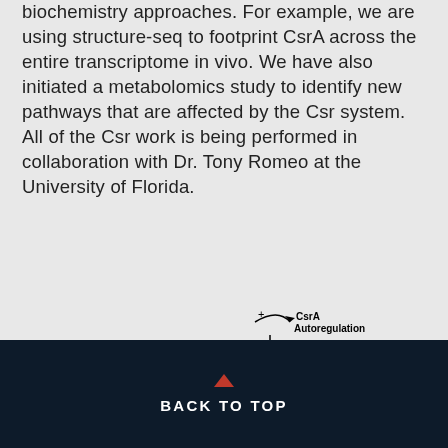biochemistry approaches. For example, we are using structure-seq to footprint CsrA across the entire transcriptome in vivo. We have also initiated a metabolomics study to identify new pathways that are affected by the Csr system. All of the Csr work is being performed in collaboration with Dr. Tony Romeo at the University of Florida.
[Figure (flowchart): Diagram showing CsrA autoregulation pathway including components: CsrA Autoregulation, CsrA (RNA binding, Regulation), RCOOH, BarA, DeaD, CsrB/C Synthesis, UvrY-P, ppGpp, RpoE, CsrB/C, CsrB/C Decay, EIIAGlc, CsrD, Glucose. Yellow arrow annotations indicate activation. Red labels for CsrA, CsrD, CsrB/C.]
BACK TO TOP